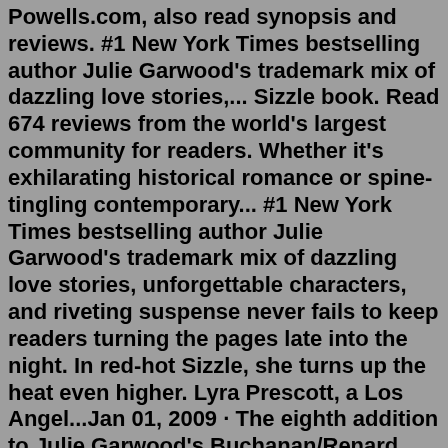Powells.com, also read synopsis and reviews. #1 New York Times bestselling author Julie Garwood's trademark mix of dazzling love stories,... Sizzle book. Read 674 reviews from the world's largest community for readers. Whether it's exhilarating historical romance or spine-tingling contemporary... #1 New York Times bestselling author Julie Garwood's trademark mix of dazzling love stories, unforgettable characters, and riveting suspense never fails to keep readers turning the pages late into the night. In red-hot Sizzle, she turns up the heat even higher. Lyra Prescott, a Los Angel...Jan 01, 2009 · The eighth addition to Julie Garwood's Buchanan/Renard series. Lyra Prescott is a LA film student and roommate of Sydney Buchanan. Lyra Prescott is a LA film student and roommate of Sydney Buchanan. While working on her last film project for her class, it becomes apparent that someone wants something they think Lyra has and now her life appears ... Sizzle book. Read 674 reviews from the world's largest community for readers. Whether it's exhilarating historical